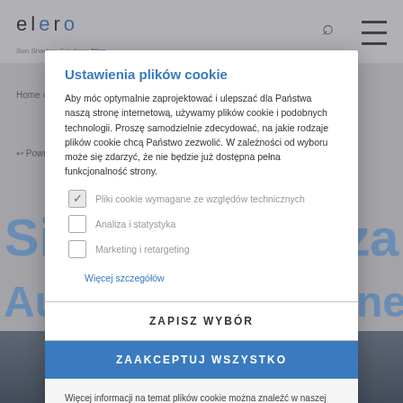[Figure (screenshot): Elero website background with logo, search icon, hamburger menu, breadcrumb navigation, and back link, partially obscured by modal overlay.]
Ustawienia plików cookie
Aby móc optymalnie zaprojektować i ulepszać dla Państwa naszą stronę internetową, używamy plików cookie i podobnych technologii. Proszę samodzielnie zdecydować, na jakie rodzaje plików cookie chcą Państwo zezwolić. W zależności od wyboru może się zdarzyć, że nie będzie już dostępna pełna funkcjonalność strony.
Pliki cookie wymagane ze względów technicznych
Analiza i statystyka
Marketing i retargeting
Więcej szczegółów
ZAPISZ WYBÓR
ZAAKCEPTUJ WSZYSTKO
Więcej informacji na temat plików cookie można znaleźć w naszej polityce prywatności.
[Figure (photo): Bottom portion of elero website showing a building with venetian blinds, with overlaid large blue semi-transparent text reading 'Sinar Mas Plaza' and 'Automation of venetian blinds'.]